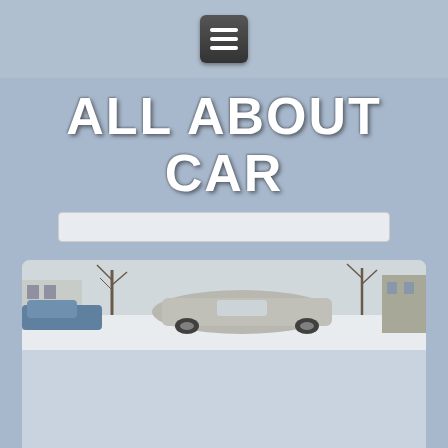hamburger menu button
ALL ABOUT CAR
[Figure (screenshot): Search bar input field, light gray rounded rectangle]
[Figure (photo): A wide panoramic photo of cars parked outdoors in a snowy/wintry scene with buildings and bare trees in the background]
Five reasons to love and hate Lifan Smily
They say that if you see something that looks like a duck, walks like a duck, and quacks like a duck, then this is a